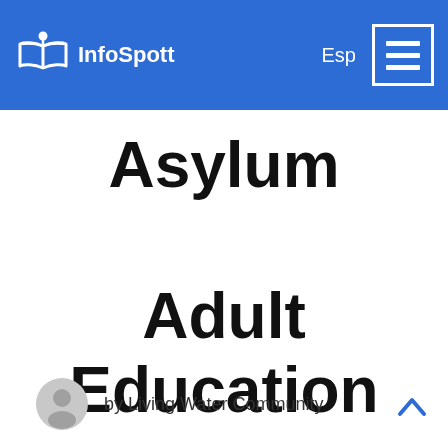[Figure (logo): InfoSpott logo with open book and location pin icon, white on blue background, with 'InfoSpott' text]
Asylum
Adult Education
by Living Water Community